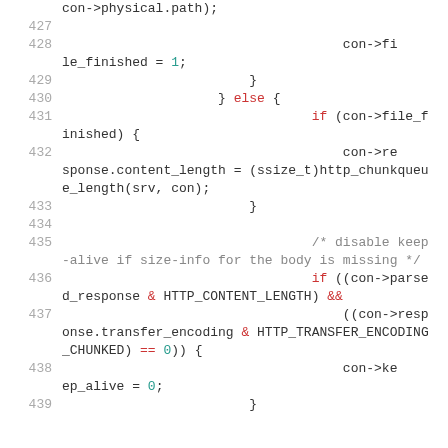Source code listing, lines 427-438+, C code for HTTP connection handling.